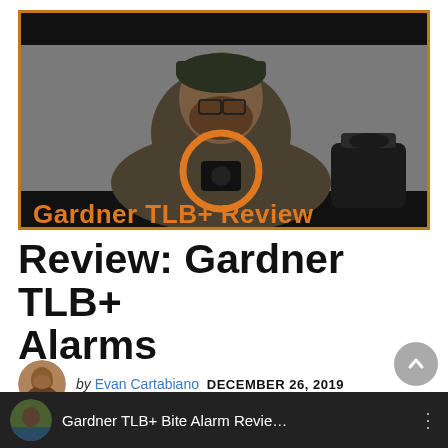[Figure (photo): YouTube video thumbnail showing a man in a dark jacket and cap holding a fishing bite alarm in front of him. An orange circular highlight overlays the alarm. Text 'Gardner TLB+ Review' in orange at the bottom of the thumbnail. A black fishing bag is visible to the right.]
Review: Gardner TLB+ Alarms
by Evan Cartabiano  DECEMBER 26, 2019
[Figure (screenshot): YouTube video embed bar at the bottom showing a circular thumbnail of Evan Cartabiano outdoors, with the video title 'Gardner TLB+ Bite Alarm Revie...' in white text on dark background, and a three-dot menu icon.]